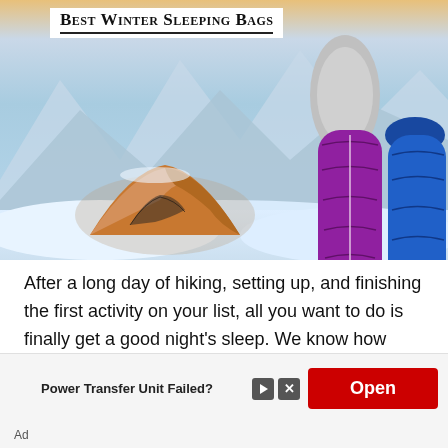[Figure (photo): Hero image showing snowy mountain landscape with orange tent and three sleeping bags (lime green, purple, blue) overlaid on the scene, with 'Best Winter Sleeping Bags' title at top left]
After a long day of hiking, setting up, and finishing the first activity on your list, all you want to do is finally get a good night's sleep. We know how difficult it is to sleep during a cold winter night, tossing and turning all night, looking for ways to get warm and
[Figure (screenshot): Advertisement banner: 'Power Transfer Unit Failed?' text with play and close icons, and a red 'Open' button. 'Ad' label at bottom left.]